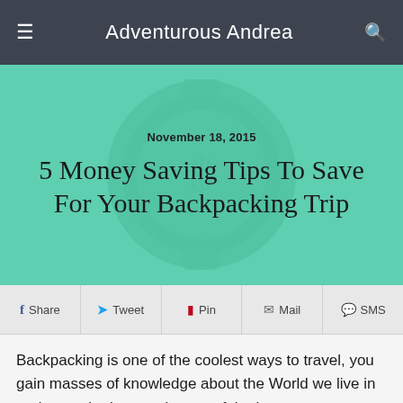Adventurous Andrea
[Figure (photo): Teal/green hero image with coin or money-related background photo overlaid with semi-transparent teal color wash, showing the article date and title]
November 18, 2015
5 Money Saving Tips To Save For Your Backpacking Trip
Share   Tweet   Pin   Mail   SMS
Backpacking is one of the coolest ways to travel, you gain masses of knowledge about the World we live in and meet the best and worst of the human race, not to mention the amazing sites you see.
Money is always an issue and backpacking without